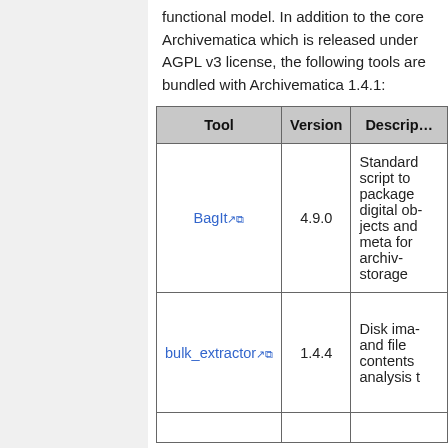functional model. In addition to the core Archivematica which is released under AGPL v3 license, the following tools are bundled with Archivematica 1.4.1:
| Tool | Version | Description |
| --- | --- | --- |
| BagIt | 4.9.0 | Standard script to package digital objects and metadata for archival storage |
| bulk_extractor | 1.4.4 | Disk image and file contents analysis t... |
|  |  |  |